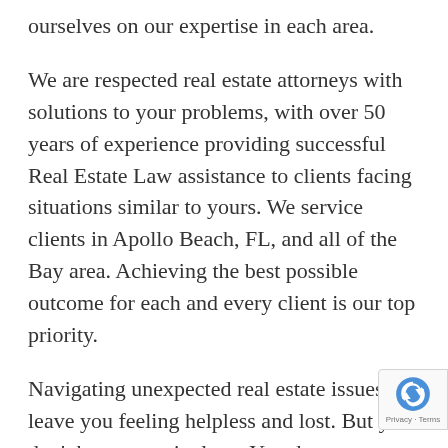ourselves on our expertise in each area.

We are respected real estate attorneys with solutions to your problems, with over 50 years of experience providing successful Real Estate Law assistance to clients facing situations similar to yours. We service clients in Apollo Beach, FL, and all of the Bay area. Achieving the best possible outcome for each and every client is our top priority.

Navigating unexpected real estate issues can leave you feeling helpless and lost. But you don't have to go it alone. You deserve quality legal advice from attorneys you can trust. We strive to provide the exceptional service you